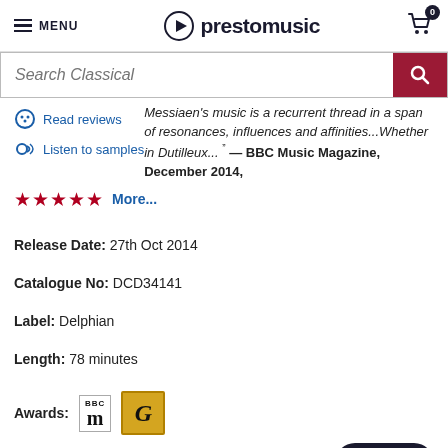MENU | prestomusic | Cart: 0
[Figure (screenshot): Search bar with 'Search Classical' placeholder and dark red search button]
Messiaen's music is a recurrent thread in a span of resonances, influences and affinities...Whether in Dutilleux... ” — BBC Music Magazine, December 2014,
Read reviews
Listen to samples
★★★★★ More...
Release Date: 27th Oct 2014
Catalogue No: DCD34141
Label: Delphian
Length: 78 minutes
Awards: BBC Music Magazine, Gramophone G
CD  $17.00
In stock